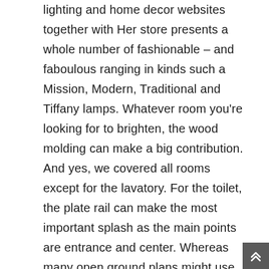lighting and home decor websites together with Her store presents a whole number of fashionable – and faboulous ranging in kinds such a Mission, Modern, Traditional and Tiffany lamps. Whatever room you're looking for to brighten, the wood molding can make a big contribution. And yes, we covered all rooms except for the lavatory. For the toilet, the plate rail can make the most important splash as the main points are entrance and center. Whereas many open ground plans might use the same wall shade all through, this example exhibits that accent walls can create separation. This light blue accent wall pairs completely with the nesting espresso table and chairs featured in the house. Our merchandise are lovely as individual items, but together, they will create architectural landscapes, transforming your home and your lifestyle. Our merchandise are more